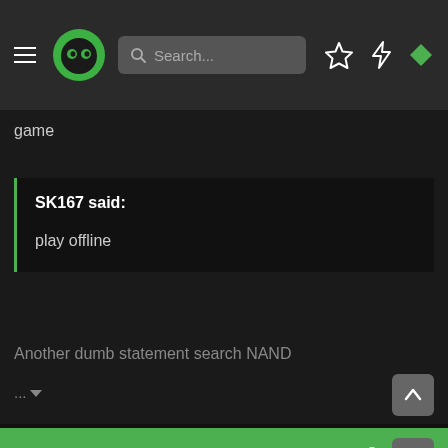[Figure (screenshot): Navigation bar with hamburger menu, green monster logo, search box, star icon, lightning bolt icon, and green diamond icon]
game
SK167 said:

play offline
Another dumb statement search NAND
...
Nov 1, 2009
#14
Login
Register